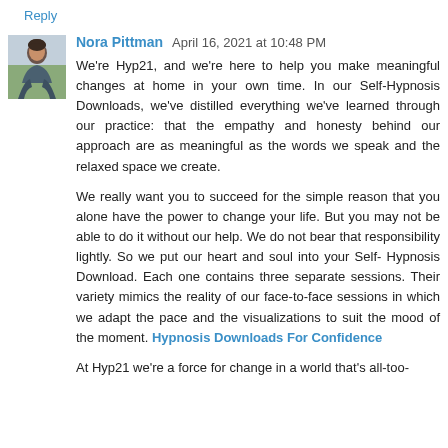Reply
Nora Pittman  April 16, 2021 at 10:48 PM
We're Hyp21, and we're here to help you make meaningful changes at home in your own time. In our Self-Hypnosis Downloads, we've distilled everything we've learned through our practice: that the empathy and honesty behind our approach are as meaningful as the words we speak and the relaxed space we create.

We really want you to succeed for the simple reason that you alone have the power to change your life. But you may not be able to do it without our help. We do not bear that responsibility lightly. So we put our heart and soul into your Self- Hypnosis Download. Each one contains three separate sessions. Their variety mimics the reality of our face-to-face sessions in which we adapt the pace and the visualizations to suit the mood of the moment. Hypnosis Downloads For Confidence

At Hyp21 we're a force for change in a world that's all-too-